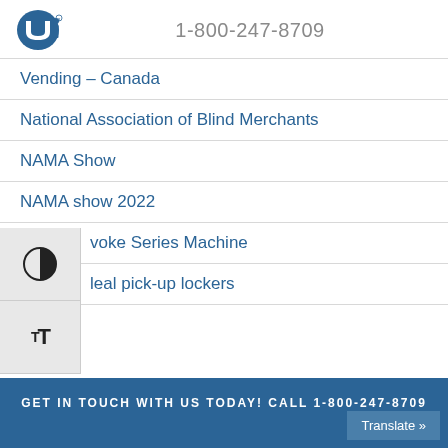USI logo | 1-800-247-8709
Vending – Canada
National Association of Blind Merchants
NAMA Show
NAMA show 2022
voke Series Machine
leal pick-up lockers
GET IN TOUCH WITH US TODAY! CALL 1-800-247-8709